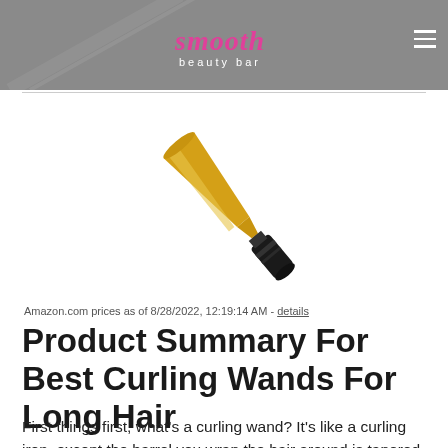smooth beauty bar
[Figure (photo): A curling wand with a gold/yellow tapered barrel and black handle, angled diagonally on a white background.]
Amazon.com prices as of 8/28/2022, 12:19:14 AM - details
Product Summary For Best Curling Wands For Long Hair
First things first, what's a curling wand? It's like a curling iron, except the barrel you wrap the hair around is tapered, and there's no clamp.